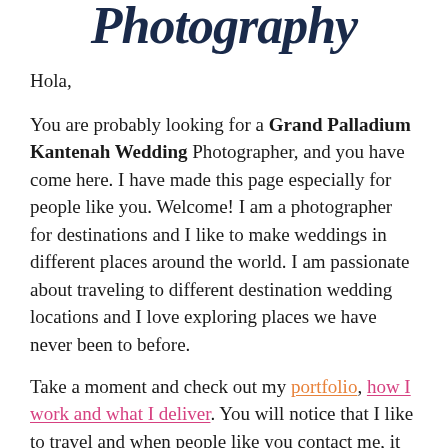Photography
Hola,
You are probably looking for a Grand Palladium Kantenah Wedding Photographer, and you have come here. I have made this page especially for people like you. Welcome! I am a photographer for destinations and I like to make weddings in different places around the world. I am passionate about traveling to different destination wedding locations and I love exploring places we have never been to before.
Take a moment and check out my portfolio, how I work and what I deliver. You will notice that I like to travel and when people like you contact me, it excites me and encourages me to continue doing this. I want to document weddings around the